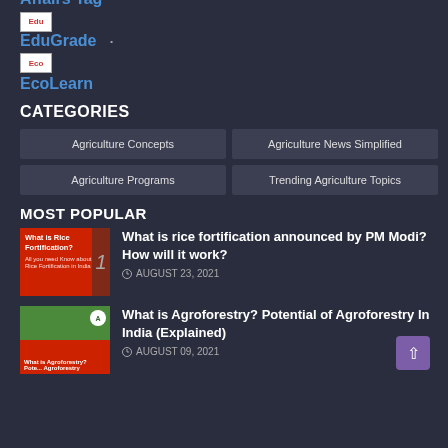Affairs Tag
EduGrade
EcoLearn
CATEGORIES
Agriculture Concepts
Agriculture News Simplified
Agriculture Programs
Trending Agriculture Topics
MOST POPULAR
What is rice fortification announced by PM Modi? How will it work?
AUGUST 23, 2021
What is Agroforestry? Potential of Agroforestry In India (Explained)
AUGUST 09, 2021